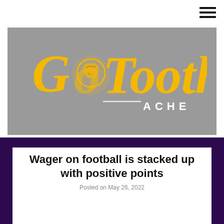[Figure (logo): GoToothache website logo — gold script text 'Go Tooth' with a wolf/fox head icon incorporated into the 'o', and 'ACHE' in white spaced letters below, on a grey background]
Wager on football is stacked up with positive points
Posted on May 26, 2022